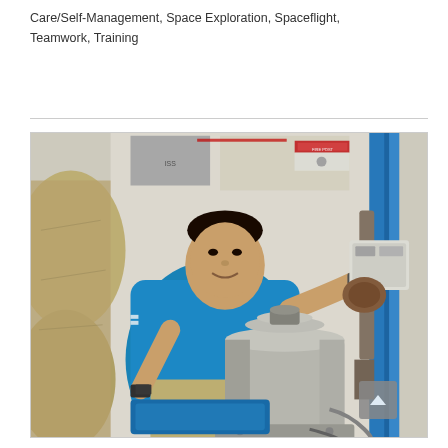Care/Self-Management, Space Exploration, Spaceflight, Teamwork, Training
[Figure (photo): An astronaut in a blue t-shirt working with a cylindrical metallic equipment (possibly a water recovery system or science hardware) aboard the International Space Station. The astronaut is holding a panel/device in one hand and operating the equipment with the other. Various storage bags and blue structural elements are visible in the background.]